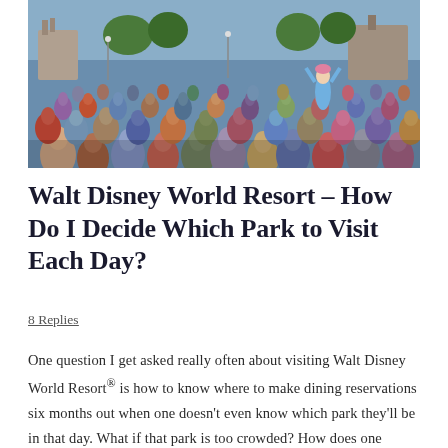[Figure (photo): A large crowd of visitors at Walt Disney World Resort, viewed from behind, with many people raising their hands. Buildings and trees visible in the background under a blue sky.]
Walt Disney World Resort – How Do I Decide Which Park to Visit Each Day?
8 Replies
One question I get asked really often about visiting Walt Disney World Resort® is how to know where to make dining reservations six months out when one doesn't even know which park they'll be in that day. What if that park is too crowded? How does one decide? Unfortunately, there's no hard and fast rule as to which park to visit which day but